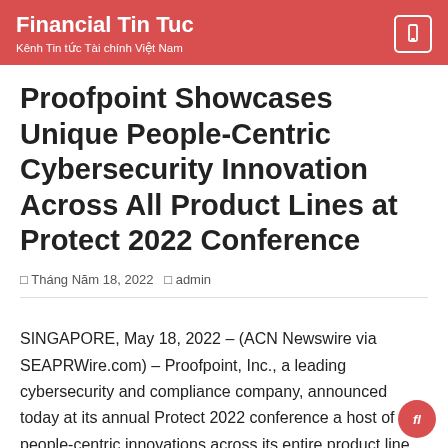Financial Tin Tuc
Kênh Tin tức Tài chính Việt Nam
Proofpoint Showcases Unique People-Centric Cybersecurity Innovation Across All Product Lines at Protect 2022 Conference
□ Tháng Năm 18, 2022  □ admin
SINGAPORE, May 18, 2022 – (ACN Newswire via SEAPRWire.com) – Proofpoint, Inc., a leading cybersecurity and compliance company, announced today at its annual Protect 2022 conference a host of people-centric innovations across its entire product line, meeting customer demand for solutions that address the security and compliance needs of today's